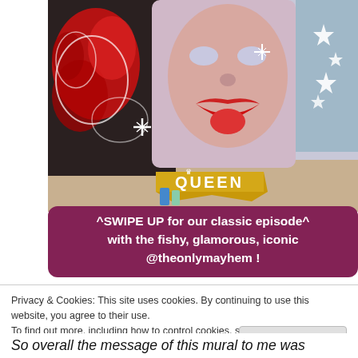[Figure (photo): A colorful street mural featuring a face with prominent lips and tongue, surrounded by red swirling graffiti designs. A gold/yellow banner in the lower center reads 'QUEEN' in bold letters with a crown symbol. White sparkle/star decorations appear on the right side.]
^SWIPE UP for our classic episode^ with the fishy, glamorous, iconic @theonlymayhem !
Privacy & Cookies: This site uses cookies. By continuing to use this website, you agree to their use.
To find out more, including how to control cookies, see here: Cookie Policy
Close and accept
So overall the message of this mural to me was